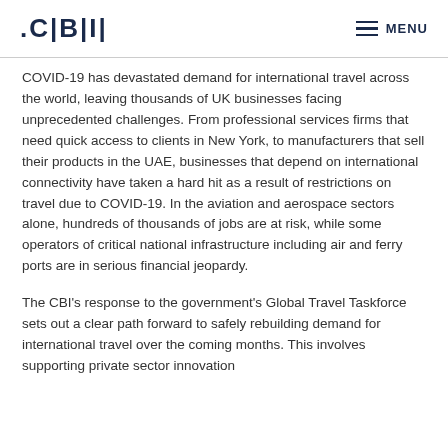CBI | MENU
COVID-19 has devastated demand for international travel across the world, leaving thousands of UK businesses facing unprecedented challenges. From professional services firms that need quick access to clients in New York, to manufacturers that sell their products in the UAE, businesses that depend on international connectivity have taken a hard hit as a result of restrictions on travel due to COVID-19. In the aviation and aerospace sectors alone, hundreds of thousands of jobs are at risk, while some operators of critical national infrastructure including air and ferry ports are in serious financial jeopardy.
The CBI's response to the government's Global Travel Taskforce sets out a clear path forward to safely rebuilding demand for international travel over the coming months. This involves supporting private sector innovation